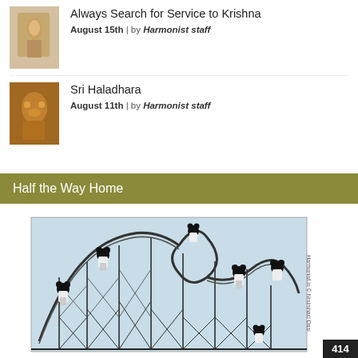Always Search for Service to Krishna
August 15th | by Harmonist staff
Sri Haladhara
August 11th | by Harmonist staff
Half the Way Home
[Figure (illustration): Cartoon illustration of mouse-like characters riding a roller coaster with looping tracks and structural framework, in a light blue halftone style. Watermark text reads Harmonist.in © Nrsimhaci Dasi on the right side.]
414